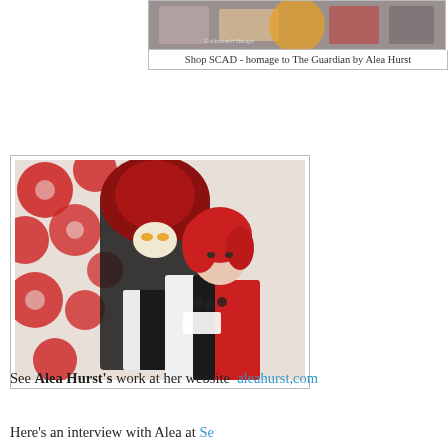[Figure (photo): Group photo from Shop SCAD event, partially cropped at top]
Shop SCAD - homage to The Guardian by Alea Hurst
[Figure (photo): Woman with red hair standing in front of a red and white floral painting featuring a masked figure in a tuxedo]
See Alea Hurst's work at her website  aleahurst,com
Here's an interview with Alea at ...